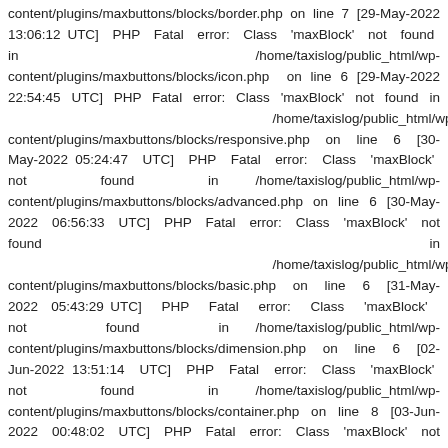content/plugins/maxbuttons/blocks/border.php on line 7 [29-May-2022 13:06:12 UTC] PHP Fatal error: Class 'maxBlock' not found in /home/taxislog/public_html/wp-content/plugins/maxbuttons/blocks/icon.php on line 6 [29-May-2022 22:54:45 UTC] PHP Fatal error: Class 'maxBlock' not found in /home/taxislog/public_html/wp-content/plugins/maxbuttons/blocks/responsive.php on line 6 [30-May-2022 05:24:47 UTC] PHP Fatal error: Class 'maxBlock' not found in /home/taxislog/public_html/wp-content/plugins/maxbuttons/blocks/advanced.php on line 6 [30-May-2022 06:56:33 UTC] PHP Fatal error: Class 'maxBlock' not found in /home/taxislog/public_html/wp-content/plugins/maxbuttons/blocks/basic.php on line 6 [31-May-2022 05:43:29 UTC] PHP Fatal error: Class 'maxBlock' not found in /home/taxislog/public_html/wp-content/plugins/maxbuttons/blocks/dimension.php on line 6 [02-Jun-2022 13:51:14 UTC] PHP Fatal error: Class 'maxBlock' not found in /home/taxislog/public_html/wp-content/plugins/maxbuttons/blocks/container.php on line 8 [03-Jun-2022 00:48:02 UTC] PHP Fatal error: Class 'maxBlock' not found in /home/taxislog/public_html/wp-content/plugins/maxbuttons/blocks/meta.php on line 6 [03-Jun-2022 02:19:45 UTC] PHP Fatal error: Class 'maxBlock' not found in /home/taxislog/public_html/wp-content/plugins/maxbuttons/blocks/gradient.php on line 8 [03-Jun-2022 06:45:07 UTC] PHP Fatal error: Class 'maxBlock' not found in /home/taxislog/public_html/wp-content/plugins/maxbuttons/blocks/meta.php on line 6